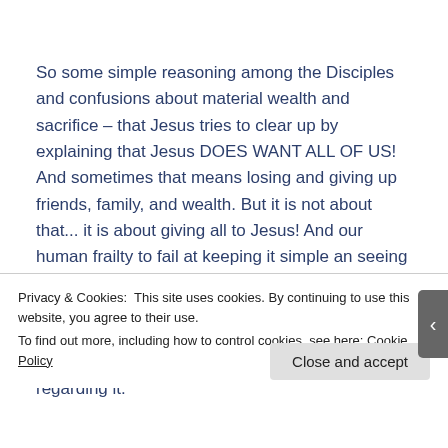So some simple reasoning among the Disciples and confusions about material wealth and sacrifice – that Jesus tries to clear up by explaining that Jesus DOES WANT ALL OF US! And sometimes that means losing and giving up friends, family, and wealth. But it is not about that... it is about giving all to Jesus! And our human frailty to fail at keeping it simple an seeing it means what It says... so Jesus goes on to explain that With God All Things Are Possible. We cannot even give it all to Him without His help – and that is ok. There is no condemnation regarding it.
Privacy & Cookies: This site uses cookies. By continuing to use this website, you agree to their use.
To find out more, including how to control cookies, see here: Cookie Policy